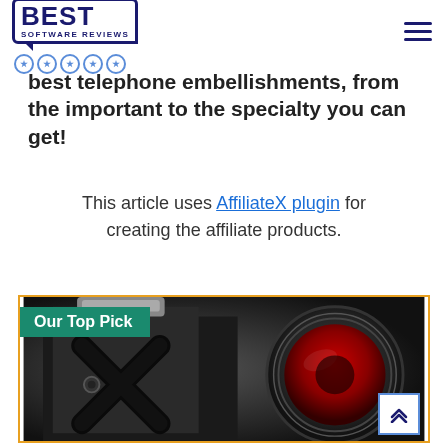BEST SOFTWARE REVIEWS (logo with stars)
best telephone embellishments, from the important to the specialty you can get!
This article uses AffiliateX plugin for creating the affiliate products.
[Figure (photo): Product photo of a black phone lens attachment/clip-on camera lens with red accent, shown close up, inside an orange-bordered box with 'Our Top Pick' teal badge overlay]